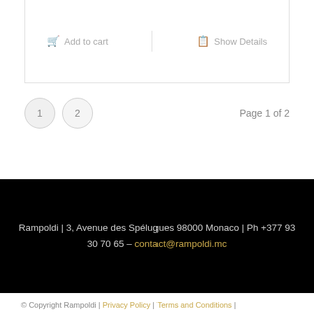Add to cart | Show Details
1  2  Page 1 of 2
Rampoldi | 3, Avenue des Spélugues 98000 Monaco | Ph +377 93 30 70 65 – contact@rampoldi.mc
© Copyright Rampoldi | Privacy Policy | Terms and Conditions |